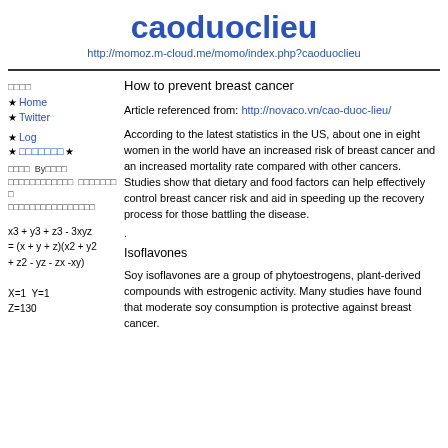caoduoclieu
http://momoz.m-cloud.me/momo/index.php?caoduoclieu
How to prevent breast cancer
Article referenced from: http://novaco.vn/cao-duoc-lieu/
According to the latest statistics in the US, about one in eight women in the world have an increased risk of breast cancer and an increased mortality rate compared with other cancers. Studies show that dietary and food factors can help effectively control breast cancer risk and aid in speeding up the recovery process for those battling the disease.
Isoflavones
Soy isoflavones are a group of phytoestrogens, plant-derived compounds with estrogenic activity. Many studies have found that moderate soy consumption is protective against breast cancer.
★ Home
★ Twitter
★ Log
★ □□□□□□□ ★